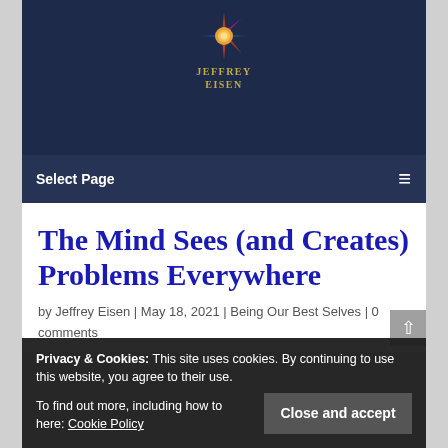[Figure (logo): Jeffrey Eisen website logo — starburst/sunburst graphic in red, blue, and gold above gold text 'JEFFREY EISEN']
Select Page  ☰
The Mind Sees (and Creates) Problems Everywhere
by Jeffrey Eisen | May 18, 2021 | Being Our Best Selves | 0 comments
Privacy & Cookies: This site uses cookies. By continuing to use this website, you agree to their use. To find out more, including how to here: Cookie Policy  [Close and accept]